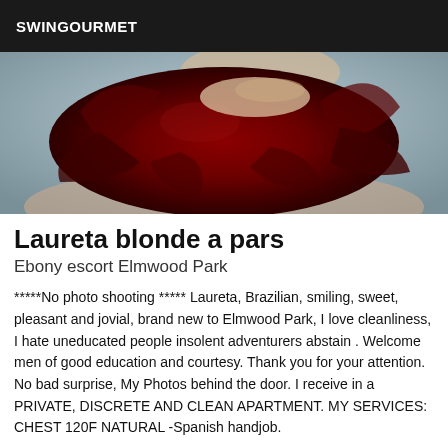SWINGOURMET
[Figure (photo): Close-up photo of a person holding a large dark red flower or fabric in front of their face, with a light blue background visible.]
Laureta blonde a pars
Ebony escort Elmwood Park
*****No photo shooting ***** Laureta, Brazilian, smiling, sweet, pleasant and jovial, brand new to Elmwood Park, I love cleanliness, I hate uneducated people insolent adventurers abstain . Welcome men of good education and courtesy. Thank you for your attention. No bad surprise, My Photos behind the door. I receive in a PRIVATE, DISCRETE AND CLEAN APARTMENT. MY SERVICES: CHEST 120F NATURAL -Spanish handjob.